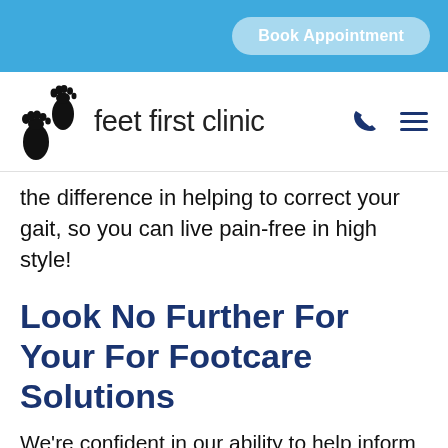Book Appointment
[Figure (logo): Feet First Clinic logo with two footprints and the text 'feet first clinic']
the difference in helping to correct your gait, so you can live pain-free in high style!
Look No Further For Your For Footcare Solutions
We're confident in our ability to help inform you and solve your concern with the least amount of discomfort as possible. Call us to